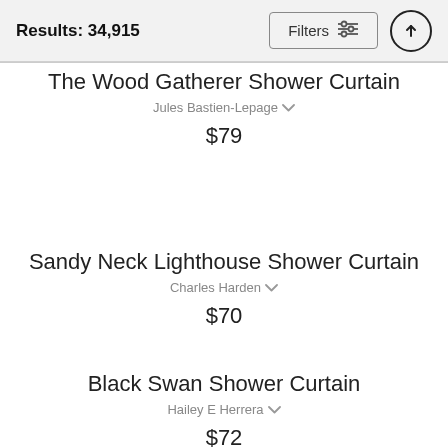Results: 34,915
The Wood Gatherer Shower Curtain
Jules Bastien-Lepage
$79
Sandy Neck Lighthouse Shower Curtain
Charles Harden
$70
Black Swan Shower Curtain
Hailey E Herrera
$72